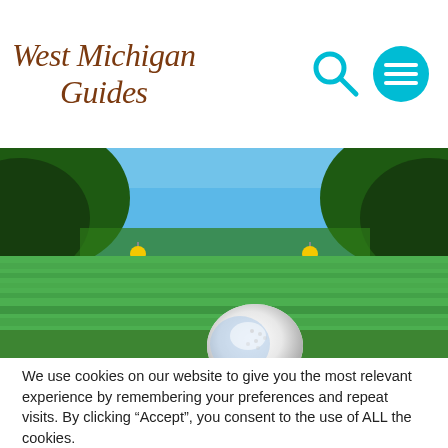West Michigan Guides
[Figure (photo): Golf ball resting on green grass on a golf course, with yellow flag markers visible in the background and trees under a blue sky]
We use cookies on our website to give you the most relevant experience by remembering your preferences and repeat visits. By clicking “Accept”, you consent to the use of ALL the cookies.
Cookie settings  ACCEPT